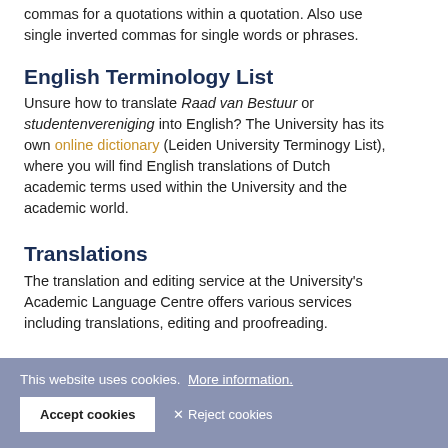commas for a quotations within a quotation. Also use single inverted commas for single words or phrases.
English Terminology List
Unsure how to translate Raad van Bestuur or studentenvereniging into English? The University has its own online dictionary (Leiden University Terminogy List), where you will find English translations of Dutch academic terms used within the University and the academic world.
Translations
The translation and editing service at the University's Academic Language Centre offers various services including translations, editing and proofreading.
This website uses cookies. More information. Accept cookies Reject cookies